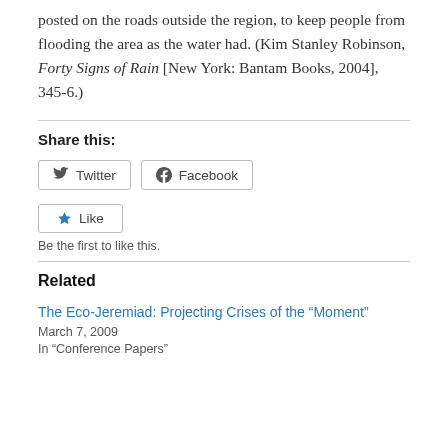posted on the roads outside the region, to keep people from flooding the area as the water had. (Kim Stanley Robinson, Forty Signs of Rain [New York: Bantam Books, 2004], 345-6.)
Share this:
[Figure (other): Twitter and Facebook share buttons]
[Figure (other): Like button with note: Be the first to like this.]
Related
The Eco-Jeremiad: Projecting Crises of the “Moment”
March 7, 2009
In “Conference Papers”